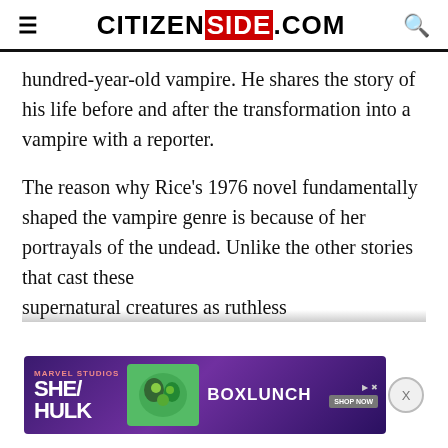CITIZENSIDE.COM
hundred-year-old vampire. He shares the story of his life before and after the transformation into a vampire with a reporter.
The reason why Rice's 1976 novel fundamentally shaped the vampire genre is because of her portrayals of the undead. Unlike the other stories that cast these supernatural creatures as ruthless
[Figure (screenshot): Advertisement banner for She-Hulk / BoxLunch Marvel collaboration]